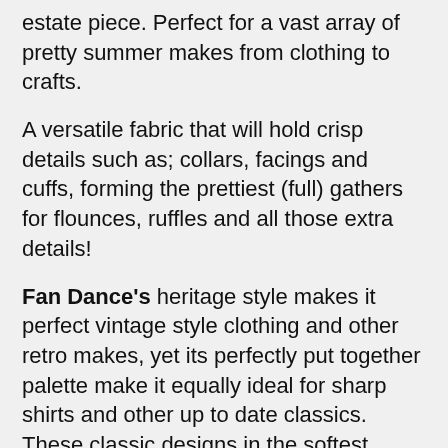estate piece. Perfect for a vast array of pretty summer makes from clothing to crafts.
A versatile fabric that will hold crisp details such as; collars, facings and cuffs, forming the prettiest (full) gathers for flounces, ruffles and all those extra details!
Fan Dance's heritage style makes it perfect vintage style clothing and other retro makes, yet its perfectly put together palette make it equally ideal for sharp shirts and other up to date classics. These classic designs in the softest lawns never date and by creating garments (or any other hand-crafted makes) from this stunning fabric you will be creating heirlooms of the future.